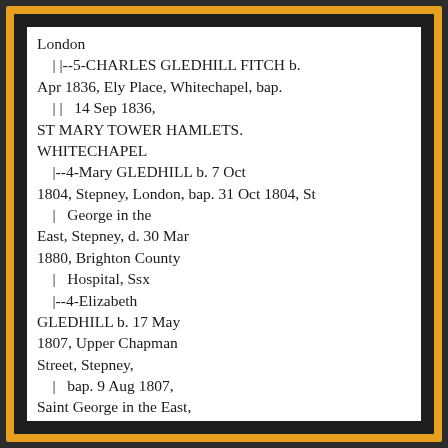London
    | |--5-CHARLES GLEDHILL FITCH b. Apr 1836, Ely Place, Whitechapel, bap.
    | |   14 Sep 1836, ST MARY TOWER HAMLETS. WHITECHAPEL
    |--4-Mary GLEDHILL b. 7 Oct 1804, Stepney, London, bap. 31 Oct 1804, St
    |   George in the East, Stepney, d. 30 Mar 1880, Brighton County
    |   Hospital, Ssx
    |--4-Elizabeth GLEDHILL b. 17 May 1807, Upper Chapman Street, Stepney,
    |   bap. 9 Aug 1807, Saint George in the East, Stepney, d. Mar 1863,
    |   MILE END,